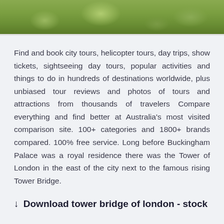[Figure (photo): Top portion of a nature/landscape photo showing green grass field]
Find and book city tours, helicopter tours, day trips, show tickets, sightseeing day tours, popular activities and things to do in hundreds of destinations worldwide, plus unbiased tour reviews and photos of tours and attractions from thousands of travelers Compare everything and find better at Australia's most visited comparison site. 100+ categories and 1800+ brands compared. 100% free service. Long before Buckingham Palace was a royal residence there was the Tower of London in the east of the city next to the famous rising Tower Bridge.
↓ Download tower bridge of london - stock